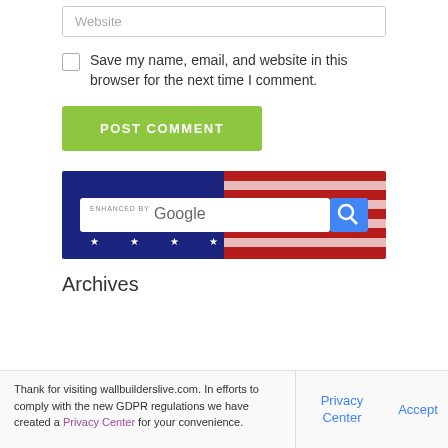Website
Save my name, email, and website in this browser for the next time I comment.
POST COMMENT
[Figure (screenshot): Google search bar with ENHANCED BY Google text on an American flag background]
Archives
Thank for visiting wallbuilderslive.com. In efforts to comply with the new GDPR regulations we have created a Privacy Center for your convenience.
Privacy Center
Accept